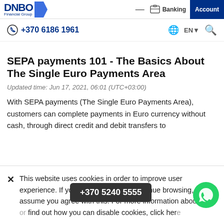DNBO Financial Group | Banking | Account
+370 6186 1961 | EN
SEPA payments 101 - The Basics About The Single Euro Payments Area
Updated time: Jun 17, 2021, 06:01 (UTC+03:00)
With SEPA payments (The Single Euro Payments Area), customers can complete payments in Euro currency without cash, through direct credit and debit transfers to
This website uses cookies in order to improve user experience. If you close this box or continue browsing, we will assume you agree with this. For more information about the cookies or find out how you can disable cookies, click here
+370 5240 5555